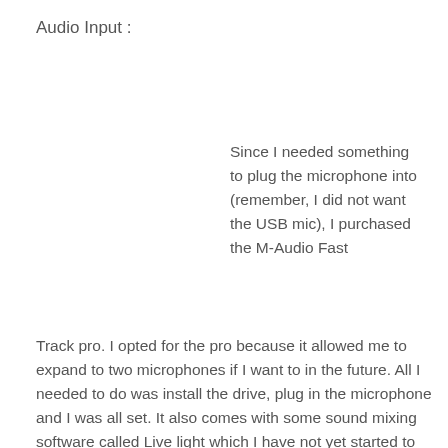Audio Input :
Since I needed something to plug the microphone into (remember, I did not want the USB mic), I purchased the M-Audio Fast Track pro.  I opted for the pro because it allowed me to expand to two microphones if I want to in the future.  All I needed to do was install the drive,  plug in the microphone and I was all set.  It also comes with some sound mixing software called Live light which I have not yet started to play with.  It was an easy set up and the sound quality was great.